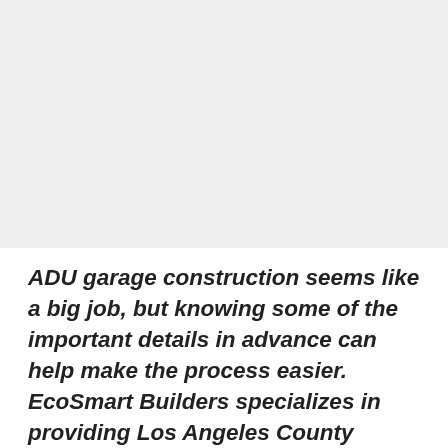[Figure (photo): A light gray rectangular image placeholder occupying the top portion of the page.]
ADU garage construction seems like a big job, but knowing some of the important details in advance can help make the process easier. EcoSmart Builders specializes in providing Los Angeles County homeowners with the resources and tools they need to undertake an